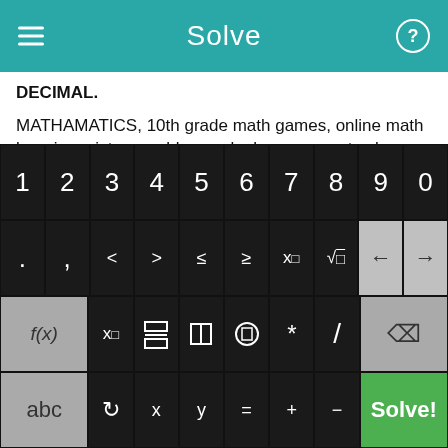Solve
DECIMAL.
MATHAMATICS, 10th grade math games, online math learning mixture problems, algebra exponent cubes, saxon algebra 2 answers.
Solve square root with variables, malaysia primary 5 math practice, college algebra, an early functions appraoch, tutor program, sample test questionnaires for graders, vertex ti89 quadratic equation, subtracting word problems with fractions.
[Figure (screenshot): A math keyboard with number keys 1-9,0, symbol keys including . , < > ≤ ≥ x^□ √□ and navigation arrows, function keys f(x) x□ fraction absolute-value parentheses * / backspace, and bottom row abc rotate x y = + - and green Solve! button.]